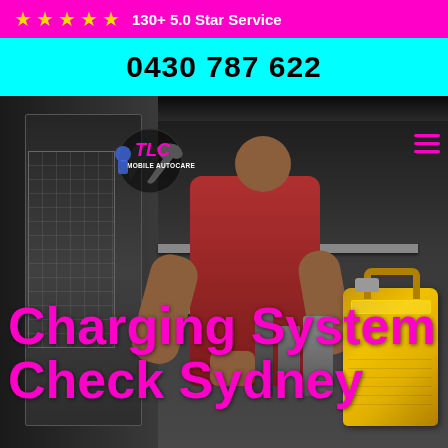★★★★★ 130+ 5.0 Star Service
0430 787 622
[Figure (photo): A mechanic working inside the back of a service van with shelves and a yellow jerry can visible, with the TLC Mobile Autocare logo overlay and the text 'Charging System Check Sydney' in magenta]
Charging System Check Sydney